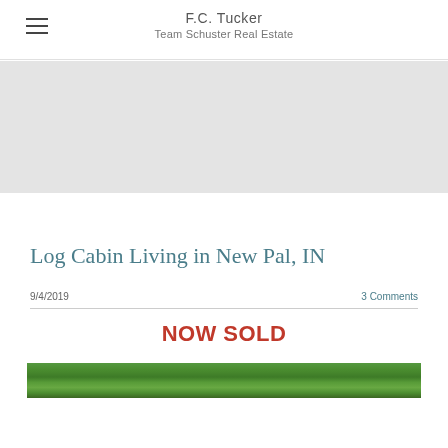F.C. Tucker
Team Schuster Real Estate
[Figure (photo): Gray hero banner image area (placeholder/loading)]
Log Cabin Living in New Pal, IN
9/4/2019	3 Comments
NOW SOLD
[Figure (photo): Aerial or landscape photo showing dense green tree canopy/foliage]